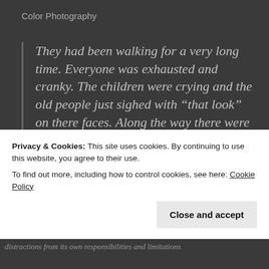Color Photography
They had been walking for a very long time. Everyone was exhausted and cranky. The children were crying and the old people just sighed with “that look” on there faces. Along the way there were miracles and even now all of there shoes looked like brand new but still the people complained. Moses lifted his eyes to see the fire settling down on top of the
Privacy & Cookies: This site uses cookies. By continuing to use this website, you agree to their use.
To find out more, including how to control cookies, see here: Cookie Policy
Close and accept
distractions from its own responsibilities and limitations